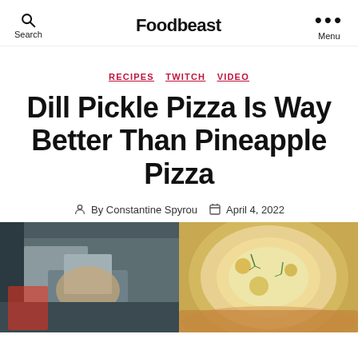Search  Foodbeast  Menu
RECIPES  TWITCH  VIDEO
Dill Pickle Pizza Is Way Better Than Pineapple Pizza
By Constantine Spyrou   April 4, 2022
[Figure (photo): Two side-by-side photos: left shows hands preparing pizza on a kitchen surface, right shows a close-up of a cheesy pizza with herbs]